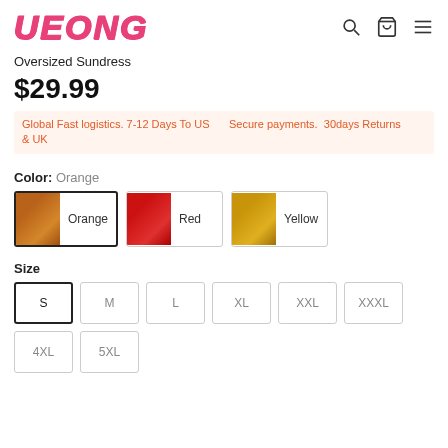UEONG
Oversized Sundress
$29.99
Global Fast logistics. 7-12 Days To US & UK   Secure payments. 30days Returns
Color: Orange
[Figure (other): Color swatch options: Orange (selected), Red, Yellow]
Size
Size options: S (selected), M, L, XL, XXL, XXXL, 4XL, 5XL